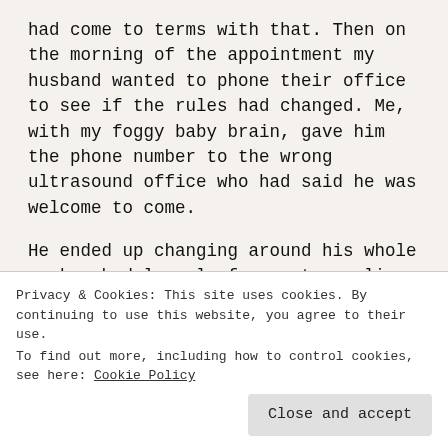had come to terms with that. Then on the morning of the appointment my husband wanted to phone their office to see if the rules had changed. Me, with my foggy baby brain, gave him the phone number to the wrong ultrasound office who had said he was welcome to come.
He ended up changing around his whole work schedule only for us to realize that we were waiting at two different locations. I felt terrible enough for the mistake but it only got worse when I confirmed with the receptionist that he was not able to come in with me and I also wouldn't be allowed to FaceTime him during the ultrasound.
Privacy & Cookies: This site uses cookies. By continuing to use this website, you agree to their use. To find out more, including how to control cookies, see here: Cookie Policy
Close and accept
screen. Obviously this was not a reaction I expected to